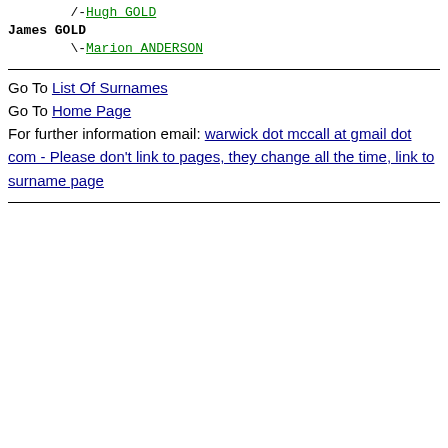/-Hugh GOLD
James GOLD
\-Marion ANDERSON
Go To List Of Surnames
Go To Home Page
For further information email: warwick dot mccall at gmail dot com - Please don't link to pages, they change all the time, link to surname page